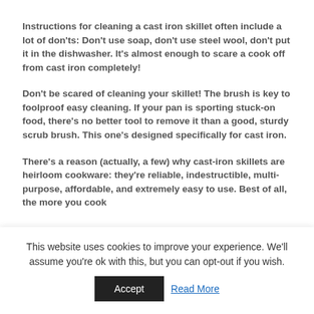Instructions for cleaning a cast iron skillet often include a lot of don'ts: Don't use soap, don't use steel wool, don't put it in the dishwasher. It's almost enough to scare a cook off from cast iron completely!
Don't be scared of cleaning your skillet! The brush is key to foolproof easy cleaning. If your pan is sporting stuck-on food, there's no better tool to remove it than a good, sturdy scrub brush. This one's designed specifically for cast iron.
There's a reason (actually, a few) why cast-iron skillets are heirloom cookware: they're reliable, indestructible, multi-purpose, affordable, and extremely easy to use. Best of all, the more you cook
This website uses cookies to improve your experience. We'll assume you're ok with this, but you can opt-out if you wish.
Accept
Read More